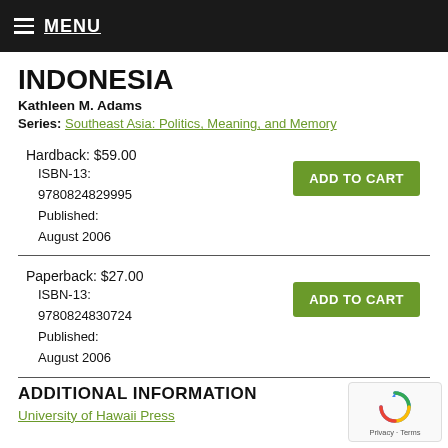MENU
INDONESIA
Kathleen M. Adams
Series: Southeast Asia: Politics, Meaning, and Memory
Hardback: $59.00
ISBN-13: 9780824829995
Published: August 2006
Paperback: $27.00
ISBN-13: 9780824830724
Published: August 2006
ADDITIONAL INFORMATION
University of Hawaii Press